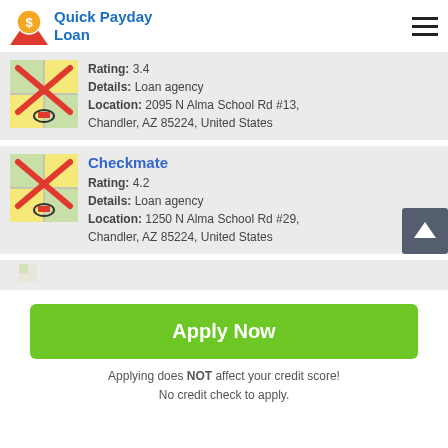Quick Payday Loan
Rating: 3.4
Details: Loan agency
Location: 2095 N Alma School Rd #13, Chandler, AZ 85224, United States
Checkmate
Rating: 4.2
Details: Loan agency
Location: 1250 N Alma School Rd #29, Chandler, AZ 85224, United States
Apply Now
Applying does NOT affect your credit score!
No credit check to apply.